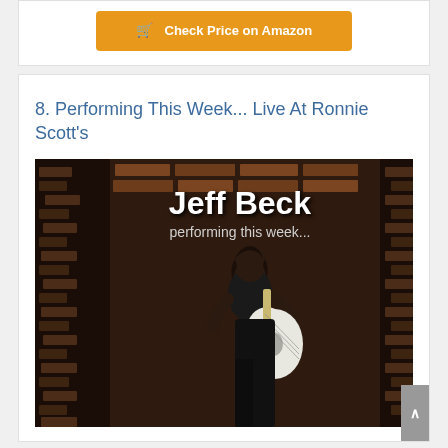[Figure (other): Orange 'Check Price on Amazon' button with shopping cart icon]
8. Performing This Week... Live At Ronnie Scott's
[Figure (photo): Album cover for Jeff Beck 'performing this week...' showing Jeff Beck holding a white guitar against a brick wall background]